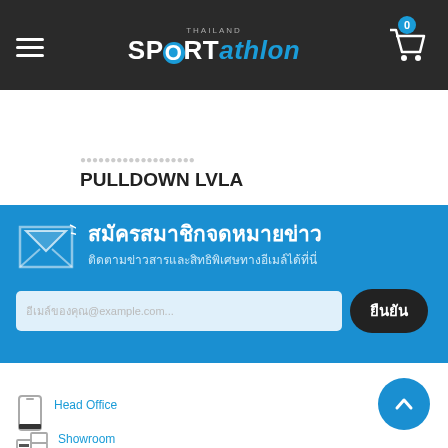SPORTathlon Thailand - header navigation bar
PULLDOWN LVLA
[Figure (infographic): Blue newsletter signup section with envelope icon, Thai text title 'สมัครสมาชิกจดหมายข่าว', subtitle 'ติดตามข่าวสารและสิทธิพิเศษทางอีเมล์ได้ที่นี่', email input field, and a confirm button 'ยืนยัน']
ติดต่อเรา
Head Office
02-712-6755-7
Showroom
02-712-7424